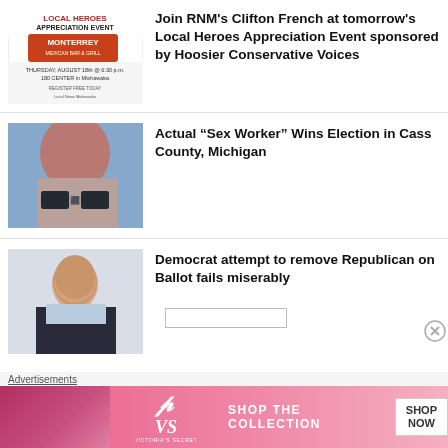[Figure (illustration): Thumbnail image of a Local Heroes Appreciation Event flyer featuring Monterrey Mexican Bar & Grill branding]
Join RNM's Clifton French at tomorrow's Local Heroes Appreciation Event sponsored by Hoosier Conservative Voices
[Figure (photo): Photo of a woman with red hair, partially censored with black bars]
Actual “Sex Worker” Wins Election in Cass County, Michigan
[Figure (photo): Photo of a bald man in a suit jacket, smiling against a white background]
Democrat attempt to remove Republican on Ballot fails miserably
Advertisements
[Figure (illustration): Victoria's Secret advertisement banner: Shop The Collection - Shop Now]